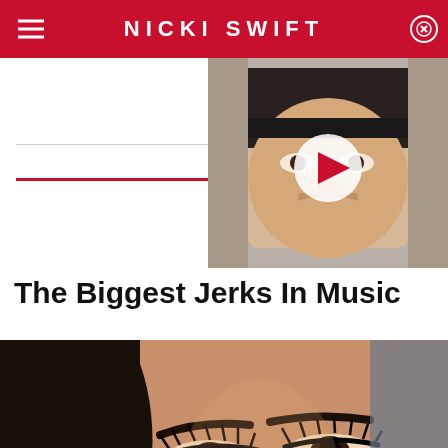NICKI SWIFT
RECOMMENDED
NEXT
[Figure (photo): Video thumbnail showing a male celebrity wearing a black cap, with a play button overlay]
The Biggest Jerks In Music
[Figure (photo): Close-up photo of a female celebrity with dramatic eye makeup, long eyelashes, and black-and-blonde wavy hair]
[Figure (other): Advertisement placeholder area at bottom of page with close button]